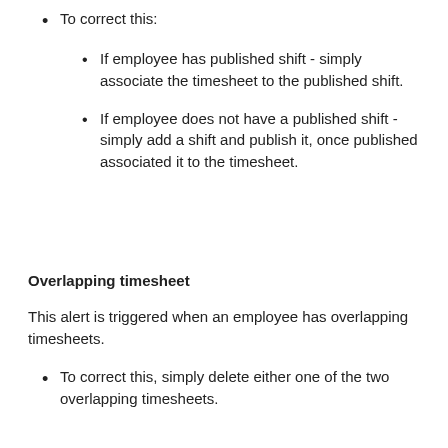To correct this:
If employee has published shift - simply associate the timesheet to the published shift.
If employee does not have a published shift - simply add a shift and publish it, once published associated it to the timesheet.
Overlapping timesheet
This alert is triggered when an employee has overlapping timesheets.
To correct this, simply delete either one of the two overlapping timesheets.